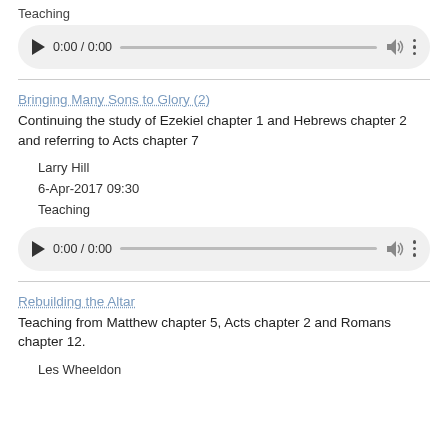Teaching
[Figure (other): Audio player showing 0:00 / 0:00 with play button, progress bar, volume and more icons]
Bringing Many Sons to Glory (2)
Continuing the study of Ezekiel chapter 1 and Hebrews chapter 2 and referring to Acts chapter 7
Larry Hill
6-Apr-2017 09:30
Teaching
[Figure (other): Audio player showing 0:00 / 0:00 with play button, progress bar, volume and more icons]
Rebuilding the Altar
Teaching from Matthew chapter 5, Acts chapter 2 and Romans chapter 12.
Les Wheeldon